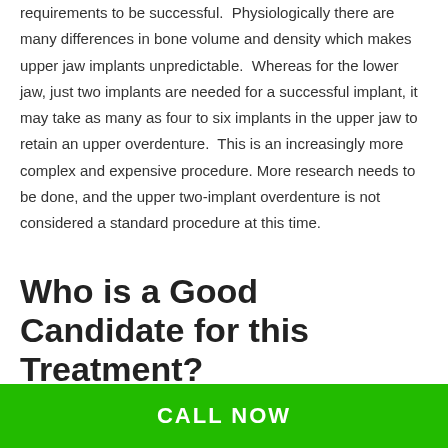requirements to be successful.  Physiologically there are many differences in bone volume and density which makes upper jaw implants unpredictable.  Whereas for the lower jaw, just two implants are needed for a successful implant, it may take as many as four to six implants in the upper jaw to retain an upper overdenture.  This is an increasingly more complex and expensive procedure. More research needs to be done, and the upper two-implant overdenture is not considered a standard procedure at this time.
Who is a Good Candidate for this Treatment?
Generally, if you are healthy enough to have a tooth extraction, you are also healthy enough for the two-implant dental implant and
CALL NOW